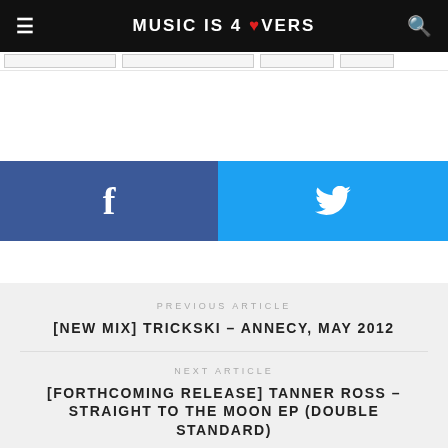MUSIC IS 4 LOVERS
[Figure (screenshot): Facebook share button (dark blue) and Twitter share button (sky blue) side by side]
PREVIOUS ARTICLE
[NEW MIX] TRICKSKI – ANNECY, MAY 2012
NEXT ARTICLE
[FORTHCOMING RELEASE] TANNER ROSS – STRAIGHT TO THE MOON EP (DOUBLE STANDARD)